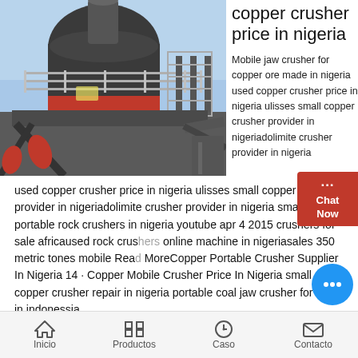[Figure (photo): Industrial cone crusher machine photographed outdoors, showing large dark grey machinery with red band, metal railings and structural supports, blue sky background]
copper crusher price in nigeria
Mobile jaw crusher for copper ore made in nigeria used copper crusher price in nigeria ulisses small copper crusher provider in nigeriadolimite crusher provider in nigeria small portable rock crushers in nigeria youtube apr 4 2015 crushers for sale africaused rock crushers online machine in nigeriasales 350 metric tones mobile Read MoreCopper Portable Crusher Supplier In Nigeria 14 · Copper Mobile Crusher Price In Nigeria small copper crusher repair in nigeria portable coal jaw crusher for hire in indonessia
Inicio  Productos  Caso  Contacto